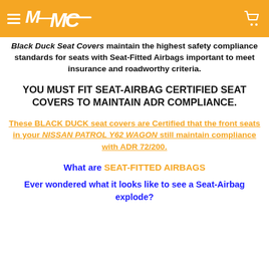MC [logo] [cart icon] navigation bar
Black Duck Seat Covers maintain the highest safety compliance standards for seats with Seat-Fitted Airbags important to meet insurance and roadworthy criteria.
YOU MUST FIT SEAT-AIRBAG CERTIFIED SEAT COVERS TO MAINTAIN ADR COMPLIANCE.
These BLACK DUCK seat covers are Certified that the front seats in your NISSAN PATROL Y62 WAGON still maintain compliance with ADR 72/200.
What are SEAT-FITTED AIRBAGS
Ever wondered what it looks like to see a Seat-Airbag explode?